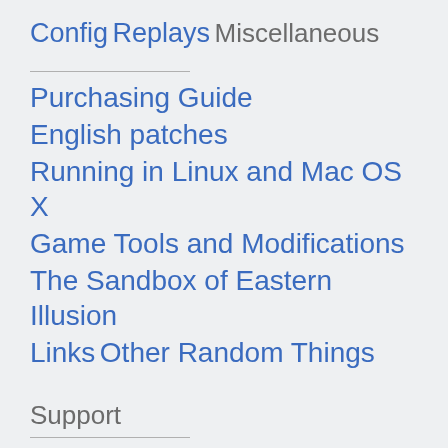Config
Replays
Miscellaneous
Purchasing Guide
English patches
Running in Linux and Mac OS X
Game Tools and Modifications
The Sandbox of Eastern Illusion
Links
Other Random Things
Support
Community Discussion
User account rights
Report an Issue